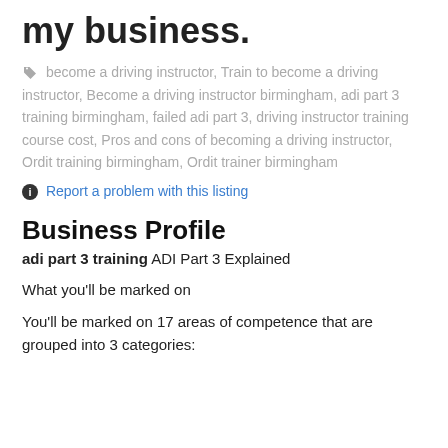my business.
become a driving instructor, Train to become a driving instructor, Become a driving instructor birmingham, adi part 3 training birmingham, failed adi part 3, driving instructor training course cost, Pros and cons of becoming a driving instructor, Ordit training birmingham, Ordit trainer birmingham
Report a problem with this listing
Business Profile
adi part 3 training ADI Part 3 Explained
What you'll be marked on
You'll be marked on 17 areas of competence that are grouped into 3 categories: